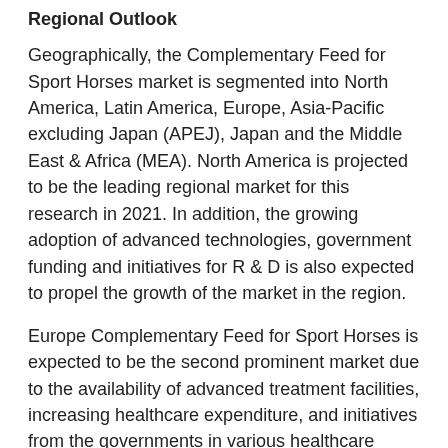Regional Outlook
Geographically, the Complementary Feed for Sport Horses market is segmented into North America, Latin America, Europe, Asia-Pacific excluding Japan (APEJ), Japan and the Middle East & Africa (MEA). North America is projected to be the leading regional market for this research in 2021. In addition, the growing adoption of advanced technologies, government funding and initiatives for R & D is also expected to propel the growth of the market in the region.
Europe Complementary Feed for Sport Horses is expected to be the second prominent market due to the availability of advanced treatment facilities, increasing healthcare expenditure, and initiatives from the governments in various healthcare reforms. The Asia Pacific and the Middle East and Africa region are expected to witness lucrative growth.